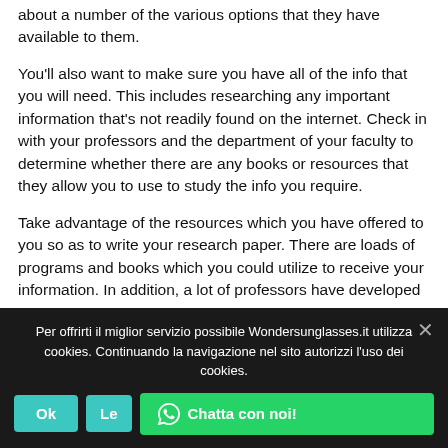about a number of the various options that they have available to them.
You'll also want to make sure you have all of the info that you will need. This includes researching any important information that's not readily found on the internet. Check in with your professors and the department of your faculty to determine whether there are any books or resources that they allow you to use to study the info you require.
Take advantage of the resources which you have offered to you so as to write your research paper. There are loads of programs and books which you could utilize to receive your information. In addition, a lot of professors have developed
Per offrirti il miglior servizio possibile Wondersunglasses.it utilizza cookies. Continuando la navigazione nel sito autorizzi l'uso dei cookies.